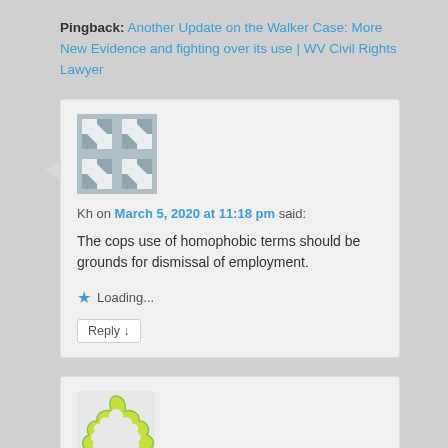Pingback: Another Update on the Walker Case: More New Evidence and fighting over its use | WV Civil Rights Lawyer
[Figure (illustration): Gray geometric avatar icon with diamond and cross patterns]
Kh on March 5, 2020 at 11:18 pm said:
The cops use of homophobic terms should be grounds for dismissal of employment.
Loading...
Reply ↓
[Figure (illustration): Yellow-green organic/floral avatar icon]